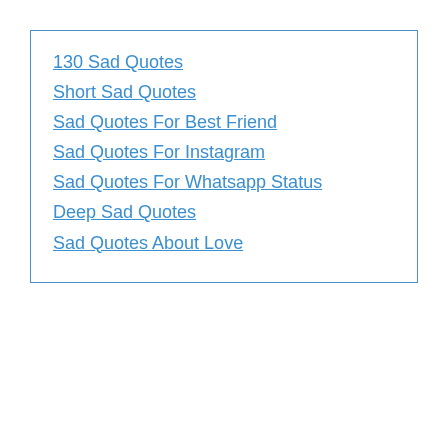130 Sad Quotes
Short Sad Quotes
Sad Quotes For Best Friend
Sad Quotes For Instagram
Sad Quotes For Whatsapp Status
Deep Sad Quotes
Sad Quotes About Love